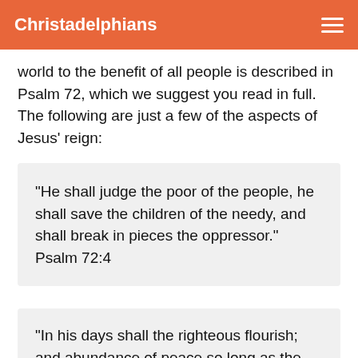Christadelphians
world to the benefit of all people is described in Psalm 72, which we suggest you read in full. The following are just a few of the aspects of Jesus' reign:
“He shall judge the poor of the people, he shall save the children of the needy, and shall break in pieces the oppressor.” Psalm 72:4
“In his days shall the righteous flourish; and abundance of peace so long as the moon